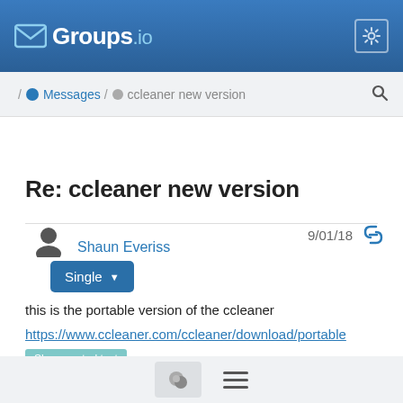Groups.io
/ Messages / ccleaner new version
Single
Re: ccleaner new version
Shaun Everiss  9/01/18
this is the portable version of the ccleaner
https://www.ccleaner.com/ccleaner/download/portable
Show quoted text